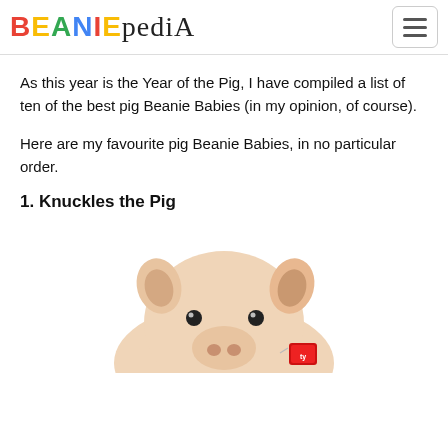BEANIEPEDIA
As this year is the Year of the Pig, I have compiled a list of ten of the best pig Beanie Babies (in my opinion, of course).
Here are my favourite pig Beanie Babies, in no particular order.
1. Knuckles the Pig
[Figure (photo): Close-up photo of Knuckles the Pig Beanie Baby plush toy, showing a pink/beige pig face with small ears, black bead eyes, and a Ty tag visible on the side.]